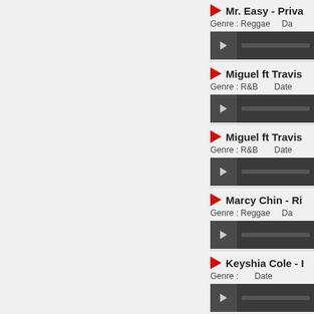Mr. Easy - Priva...  Genre : Reggae   Da...
Miguel ft Travis...  Genre : R&B   Date...
Miguel ft Travis...  Genre : R&B   Date...
Marcy Chin - Ri...  Genre : Reggae   Da...
Keyshia Cole - I...  Genre : ...   Date...